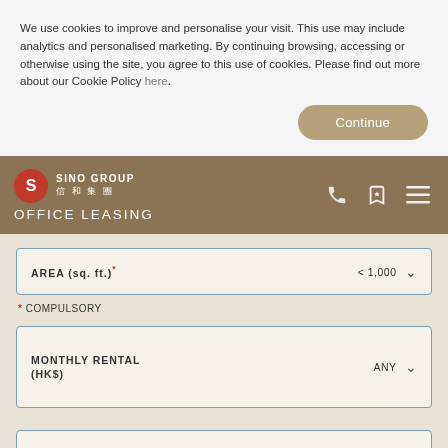We use cookies to improve and personalise your visit. This use may include analytics and personalised marketing. By continuing browsing, accessing or otherwise using the site, you agree to this use of cookies. Please find out more about our Cookie Policy here.
Continue
SINO GROUP 信和集團 OFFICE LEASING
AREA (sq. ft.)* < 1,000
* COMPULSORY
MONTHLY RENTAL (HK$) ANY
COMMENCEMENT
Message Us!